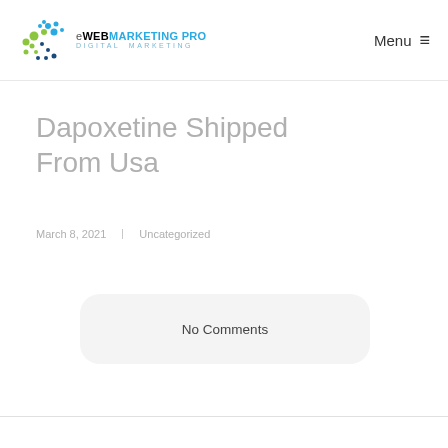eWEBMARKETING PRO DIGITAL MARKETING | Menu
Dapoxetine Shipped From Usa
March 8, 2021    Uncategorized
No Comments